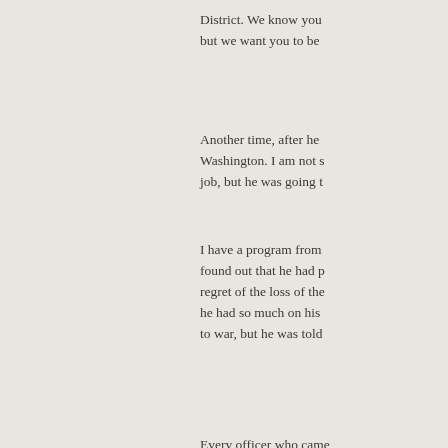District. We know you but we want you to be
Another time, after he Washington. I am not s job, but he was going t
I have a program from found out that he had p regret of the loss of the he had so much on his to war, but he was told
Every officer who came they would go in to see have to wait to go in. H
When he became in ch worked for him at the L was a Brigadier Gener